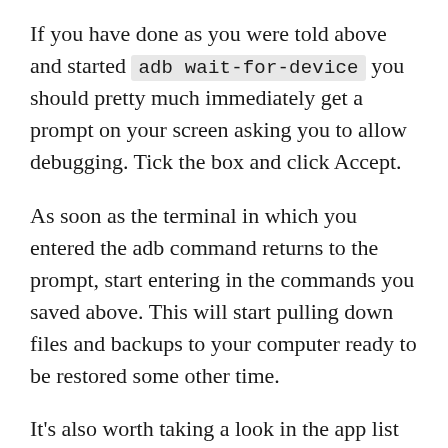If you have done as you were told above and started adb wait-for-device you should pretty much immediately get a prompt on your screen asking you to allow debugging. Tick the box and click Accept.
As soon as the terminal in which you entered the adb command returns to the prompt, start entering in the commands you saved above. This will start pulling down files and backups to your computer ready to be restored some other time.
It’s also worth taking a look in the app list to see if there’s anything you missed. I had a Bitcoin wallet app installed – although I already had a backup I thought I might as well take the opportunity to grab